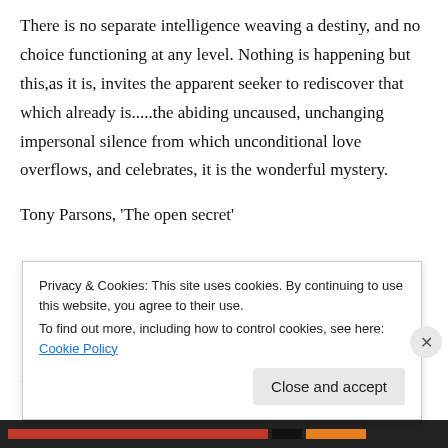There is no separate intelligence weaving a destiny, and no choice functioning at any level. Nothing is happening but this,as it is, invites the apparent seeker to rediscover that which already is.....the abiding uncaused, unchanging impersonal silence from which unconditional love overflows, and celebrates, it is the wonderful mystery.
Tony Parsons, 'The open secret'
★ Like
Privacy & Cookies: This site uses cookies. By continuing to use this website, you agree to their use.
To find out more, including how to control cookies, see here: Cookie Policy
Close and accept